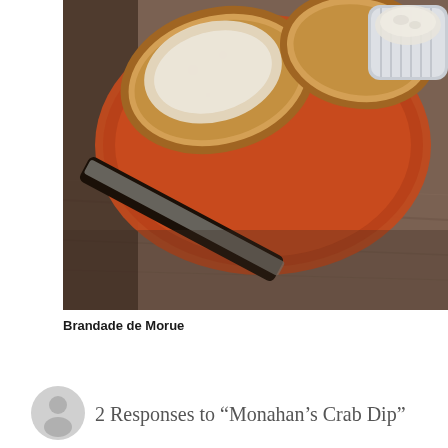[Figure (photo): Overhead photo of a rustic wooden table with a red/orange oval dish containing sliced baguette bread spread with white creamy spread (brandade de morue), alongside a white ribbed ramekin filled with the cream spread. A black-handled butter knife rests diagonally across the table.]
Brandade de Morue
2 Responses to “Monahan’s Crab Dip”